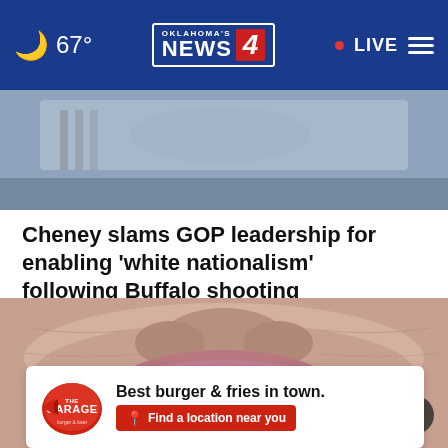67° Oklahoma's News 4 • LIVE
[Figure (photo): Partial photo visible behind navigation bar, appears to show a person with a spiral notebook]
Cheney slams GOP leadership for enabling 'white nationalism' following Buffalo shooting
[Figure (photo): Close-up macro photograph of elderly person's lips and lower face showing wrinkled skin]
[Figure (other): Advertisement for The Garage Burger & Beer: 'Best burger & fries in town. Find a location near you']